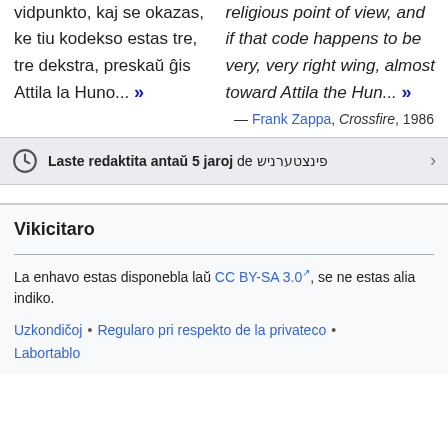vidpunkto, kaj se okazas, ke tiu kodekso estas tre, tre dekstra, preskaŭ ĝis Attila la Huno... »
religious point of view, and if that code happens to be very, very right wing, almost toward Attila the Hun... »
— Frank Zappa, Crossfire, 1986
Laste redaktita antaŭ 5 jaroj de פינצטערניש
Vikicitaro
La enhavo estas disponebla laŭ CC BY-SA 3.0, se ne estas alia indiko.
Uzkondičoj • Regularo pri respekto de la privateco • Labortablo